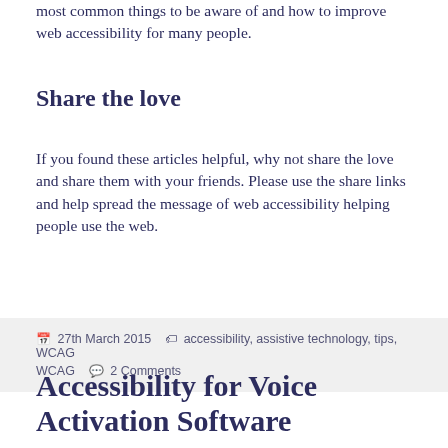most common things to be aware of and how to improve web accessibility for many people.
Share the love
If you found these articles helpful, why not share the love and share them with your friends. Please use the share links and help spread the message of web accessibility helping people use the web.
27th March 2015   accessibility, assistive technology, tips, WCAG   2 Comments
Accessibility for Voice Activation Software